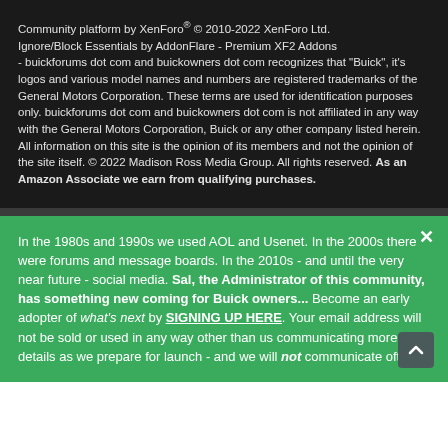Community platform by XenForo® © 2010-2022 XenForo Ltd. Ignore/Block Essentials by AddonFlare - Premium XF2 Addons - buickforums dot com and buickowners dot com recognizes that "Buick", it's logos and various model names and numbers are registered trademarks of the General Motors Corporation. These terms are used for identification purposes only. buickforums dot com and buickowners dot com is not affiliated in any way with the General Motors Corporation, Buick or any other company listed herein. All information on this site is the opinion of its members and not the opinion of the site itself. © 2022 Madison Ross Media Group. All rights reserved. As an Amazon Associate we earn from qualifying purchases.
In the 1980s and 1990s we used AOL and Usenet. In the 2000s there were forums and message boards. In the 2010s - and until the very near future - social media. Sal, the Administrator of this community, has something new coming for Buick owners... Become an early adopter of what's next by SIGNING UP HERE. Your email address will not be sold or used in any way other than us communicating more details as we prepare for launch - and we will not communicate often.